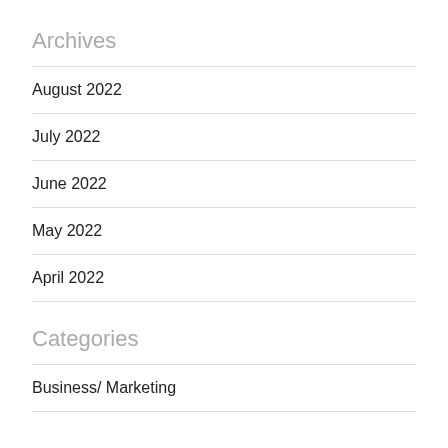Archives
August 2022
July 2022
June 2022
May 2022
April 2022
Categories
Business/ Marketing